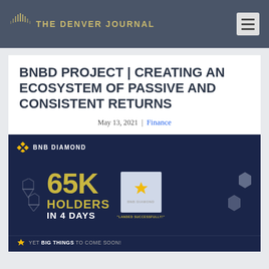THE DENVER JOURNAL
BNBD PROJECT | CREATING AN ECOSYSTEM OF PASSIVE AND CONSISTENT RETURNS
May 13, 2021 | Finance
[Figure (infographic): BNB Diamond promotional banner showing '65K HOLDERS IN 4 DAYS' with diamond graphics and 'YET BIG THINGS TO COME SOON!' tagline at bottom]